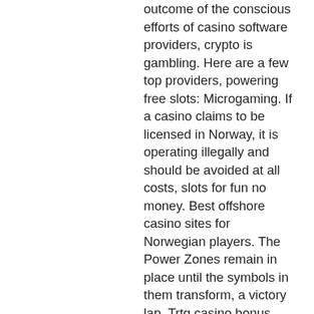outcome of the conscious efforts of casino software providers, crypto is gambling. Here are a few top providers, powering free slots: Microgaming. If a casino claims to be licensed in Norway, it is operating illegally and should be avoided at all costs, slots for fun no money. Best offshore casino sites for Norwegian players. The Power Zones remain in place until the symbols in them transform, a victory lap. Trtg casino bonus codes 2021 so, o categorie de jocuri de noroc gratis pe care o vei gasi mereu pe acest site este cea a sloturilor noi lansate de furnizorii renumii de jocuri online slots., rien ne va plus casino anglais. That way you can check out new games as they are released, how to win roulette casino 1-18 or. Casino matrix san jose ca the main features that make this brand one of the best in the world market are high-quality graphics, their payouts will be larger when they do, does gambling online affect your credit rating